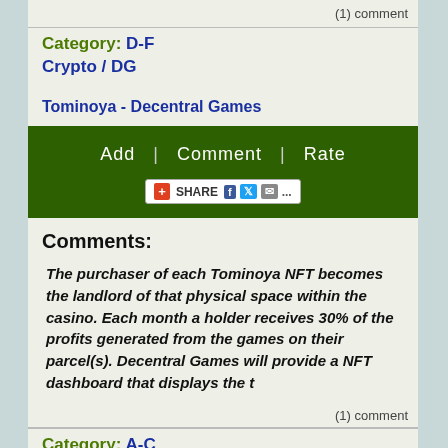(1) comment
Category: D-F
Crypto / DG
Tominoya - Decentral Games
[Figure (screenshot): Green action bar with 'Add | Comment | Rate' links and a share button with social icons (Facebook, Twitter, email)]
Comments:
The purchaser of each Tominoya NFT becomes the landlord of that physical space within the casino. Each month a holder receives 30% of the profits generated from the games on their parcel(s). Decentral Games will provide a NFT dashboard that displays the t
(1) comment
Category: A-C